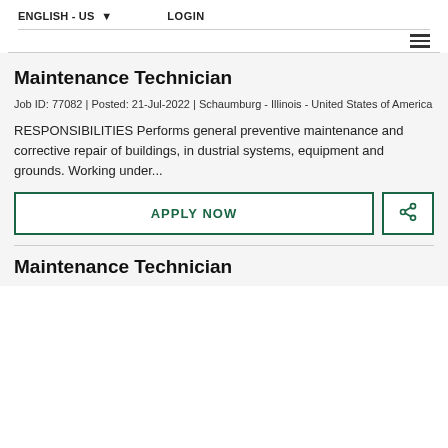ENGLISH - US ▾    LOGIN
Maintenance Technician
Job ID: 77082 | Posted: 21-Jul-2022 | Schaumburg - Illinois - United States of America
RESPONSIBILITIES Performs general preventive maintenance and corrective repair of buildings, industrial systems, equipment and grounds. Working under...
APPLY NOW
Maintenance Technician